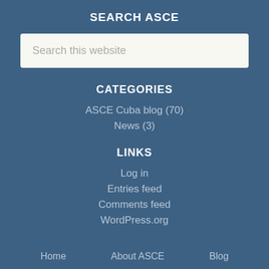SEARCH ASCE
[Figure (screenshot): Search input box with placeholder text 'Search this website']
CATEGORIES
ASCE Cuba blog (70)
News (3)
LINKS
Log in
Entries feed
Comments feed
WordPress.org
Home   About ASCE   Blog